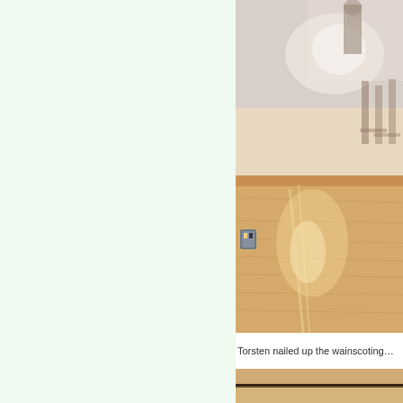[Figure (photo): Interior room photo showing wainscoting/wall paneling being installed. Light-colored walls with wooden paneling at the lower portion. A small electrical outlet or switch is visible on the left side of the wall. The upper portion shows a blurry reflection or light source.]
Torsten nailed up the wainscoting…
[Figure (photo): Close-up photo of wainscoting/wooden paneling showing a horizontal seam or joint between panels against a light background.]